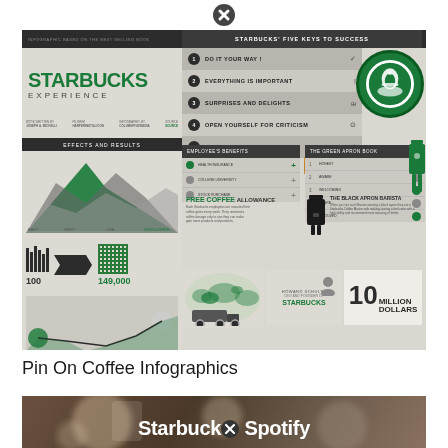[Figure (infographic): Starbucks Experience infographic based on the best-selling book. Shows Starbucks Five Keys to Success (Do It Your Way, Everything Is Important, Surprises and Delights, Open Yourself for Criticism, Leave Your Mark), Employee Benefits, The Green Apron Book, Free Coffee Allowance, Howard Schultz / Starbucks, 10 Million Dollars, mountain/area charts, statistics (100, 149,000), Starbucks logo.]
Pin On Coffee Infographics
[Figure (photo): Blurred photo of a Starbucks coffee cup with text overlay reading 'Starbucks Spotify']